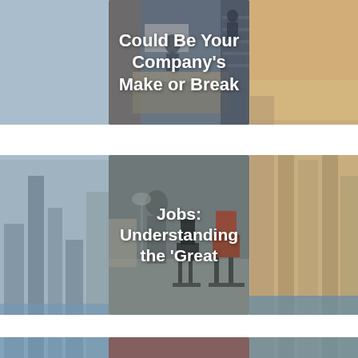[Figure (photo): Office workspace photo with white bold text overlay reading 'Could Be Your Company’s Make or Break']
[Figure (photo): Blurred office chairs photo with white bold text overlay reading 'Jobs: Understanding the ‘Great']
[Figure (photo): Reddish-brown tinted background with white bold text 'Business People:' and a blue question mark at bottom, partial text 'Are You Achie…']